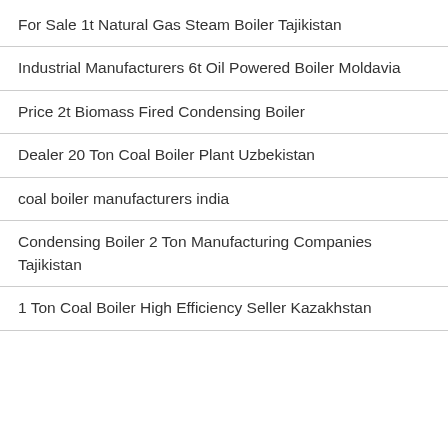For Sale 1t Natural Gas Steam Boiler Tajikistan
Industrial Manufacturers 6t Oil Powered Boiler Moldavia
Price 2t Biomass Fired Condensing Boiler
Dealer 20 Ton Coal Boiler Plant Uzbekistan
coal boiler manufacturers india
Condensing Boiler 2 Ton Manufacturing Companies Tajikistan
1 Ton Coal Boiler High Efficiency Seller Kazakhstan